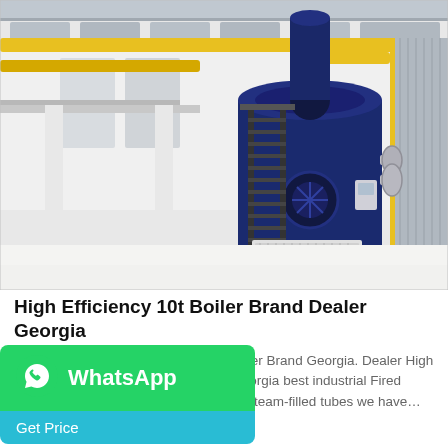[Figure (photo): Industrial boiler room interior with large blue cylindrical boiler unit, yellow gas pipes, metal staircase, white walls, and polished light-colored floor]
High Efficiency 10t Boiler Brand Dealer Georgia
Dealer High Efficiency 10t Biomass Boiler Brand Georgia. Dealer High Efficiency 10t Biomass Boiler Brand Georgia best industrial Fired Boiler Fire tube boilers heat water with steam-filled tubes we have…